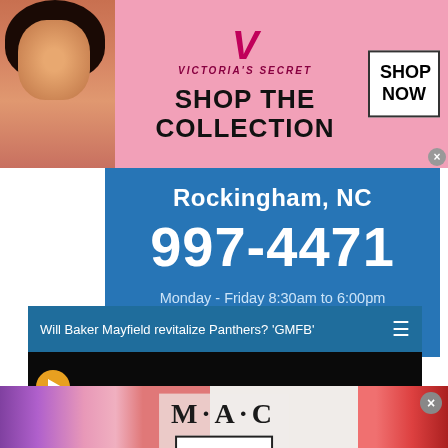[Figure (illustration): Victoria's Secret advertisement banner with model photo, VS logo, 'SHOP THE COLLECTION' text, and 'SHOP NOW' button]
Rockingham, NC
997-4471
Monday - Friday 8:30am to 6:00pm
Saturday 9:00am to 1:00pm
Will Baker Mayfield revitalize Panthers? 'GMFB'
[Figure (screenshot): Video player area with black background and orange play button]
[Figure (illustration): MAC cosmetics advertisement banner with lipstick products, MAC logo, and SHOP NOW button]